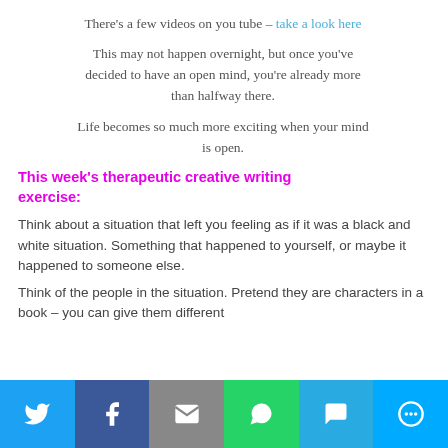There's a few videos on you tube – take a look here
This may not happen overnight, but once you've decided to have an open mind, you're already more than halfway there.
Life becomes so much more exciting when your mind is open.
This week's therapeutic creative writing exercise:
Think about a situation that left you feeling as if it was a black and white situation. Something that happened to yourself, or maybe it happened to someone else.
Think of the people in the situation. Pretend they are characters in a book – you can give them different
[Figure (infographic): Social sharing bar with Twitter, Facebook, Email, WhatsApp, SMS, and More buttons]